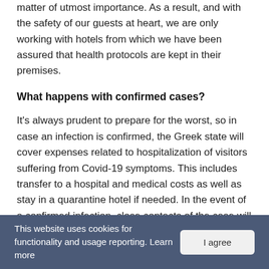matter of utmost importance. As a result, and with the safety of our guests at heart, we are only working with hotels from which we have been assured that health protocols are kept in their premises.
What happens with confirmed cases?
It's always prudent to prepare for the worst, so in case an infection is confirmed, the Greek state will cover expenses related to hospitalization of visitors suffering from Covid-19 symptoms. This includes transfer to a hospital and medical costs as well as stay in a quarantine hotel if needed. In the event of a confirmed infection, close contacts of the case will be transferred to a separate quarantine accommodation at the expense of the Greek state.
This website uses cookies for functionality and usage reporting. Learn more